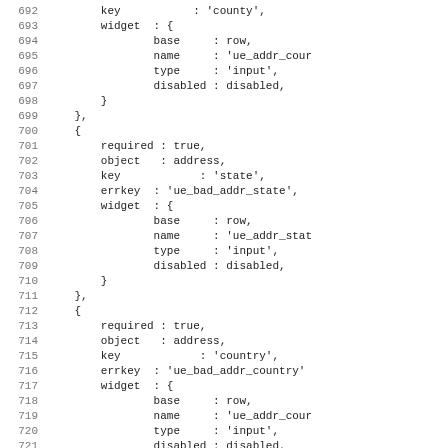Code listing lines 692-723 showing JavaScript/config object with key 'county', widget definitions, required fields, object: address, keys 'state' and 'country', errkeys, widget base: row, name, type: input, disabled: disabled